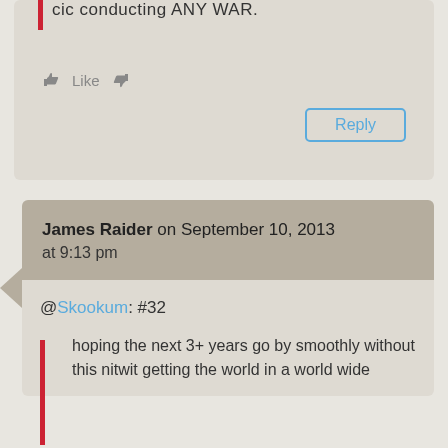cic conducting ANY WAR.
Like [thumbs up] [thumbs down]
Reply
James Raider on September 10, 2013 at 9:13 pm
@Skookum: #32
hoping the next 3+ years go by smoothly without this nitwit getting the world in a world wide